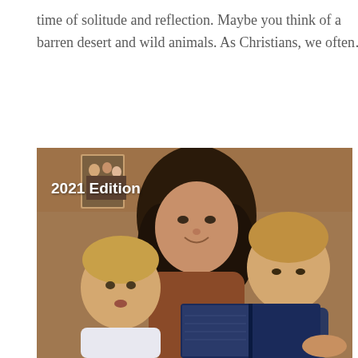time of solitude and reflection. Maybe you think of a barren desert and wild animals. As Christians, we often…
[Figure (photo): A woman with curly dark hair smiles while reading a book with two young blonde boys. The image has '2021 Edition' overlaid in white bold text in the upper-left corner.]